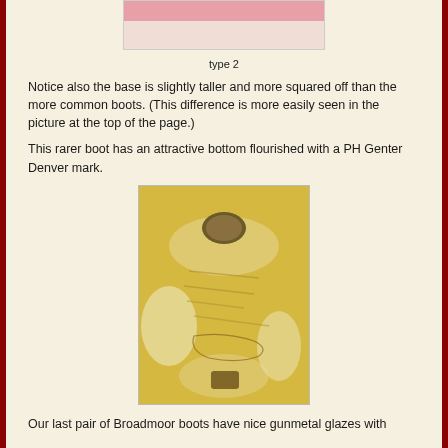[Figure (photo): Close-up photo of a boot top showing pink and white/cream horizontal bands]
type 2
Notice also the base is slightly taller and more squared off than the more common boots. (This difference is more easily seen in the picture at the top of the page.)
This rarer boot has an attractive bottom flourished with a PH Genter Denver mark.
[Figure (photo): Photo of the bottom of a boot showing a yellowish-gold textured surface with a PH Genter Denver mark stamp]
Our last pair of Broadmoor boots have nice gunmetal glazes with